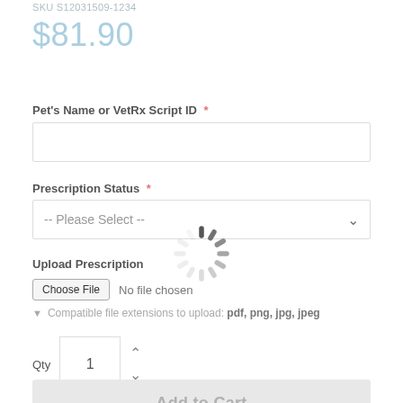SKU S12031509-1234
$81.90
Pet's Name or VetRx Script ID *
Prescription Status *
Upload Prescription
Choose File  No file chosen
Compatible file extensions to upload: pdf, png, jpg, jpeg
Qty  1
Add to Cart
[Figure (infographic): Loading spinner (animated wheel) overlay in center of page]